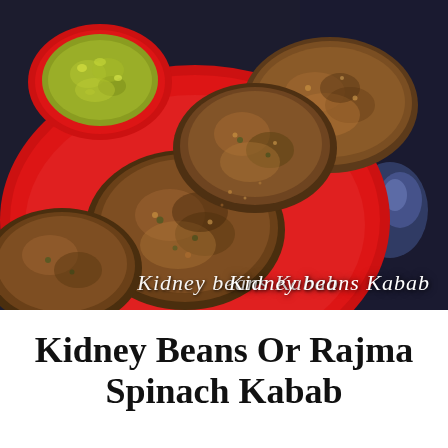[Figure (photo): A red plate containing four round fried kidney bean and spinach kababs, with a small red bowl of green chutney sauce in the upper left. The background shows a dark countertop. White italic text overlay reads 'Kidney beans Kabab' in the lower right of the image.]
Kidney Beans Or Rajma Spinach Kabab